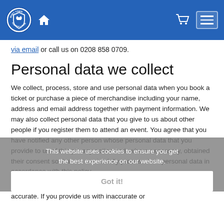Bury Town Football Club navigation header with logo, home icon, cart icon, and hamburger menu
via email or call us on 0208 858 0709.
Personal data we collect
We collect, process, store and use personal data when you book a ticket or purchase a piece of merchandise including your name, address and email address together with payment information. We may also collect personal data that you give to us about other people if you register them to attend an event. You agree that you have notified any other person whose personal data that you provide to us of this privacy notice and, where necessary, obtained their consent so that we can lawfully process their personal data in accordance with this policy.
This website uses cookies to ensure you get the best experience on our website. Got it!
All personal data that you provide to us must be true, complete and accurate. If you provide us with inaccurate or